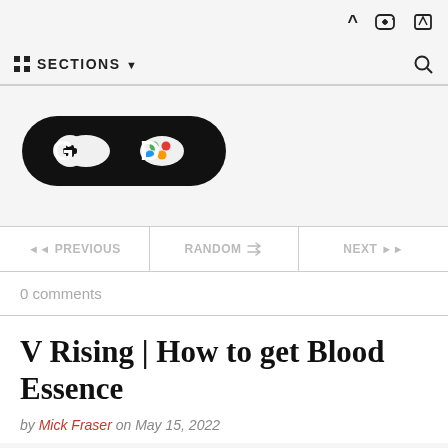SECTIONS ↓
[Figure (logo): Game Detour (GD) logo — stylized game controller icon with G and D letters in bold rounded shape]
◀◀ PREVIOUS   RANDOM   NEXT ▶▶
0 comments
V Rising | How to get Blood Essence
by Mick Fraser on May 15, 2022